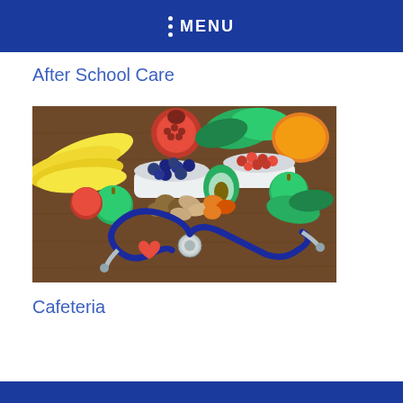MENU
After School Care
[Figure (photo): Photo of fresh fruits and vegetables (bananas, pomegranate, blueberries, cranberries, avocado, green apples, walnuts, dried apricots, leafy greens, squash) arranged on a wooden table alongside a stethoscope and a small red heart shape.]
Cafeteria